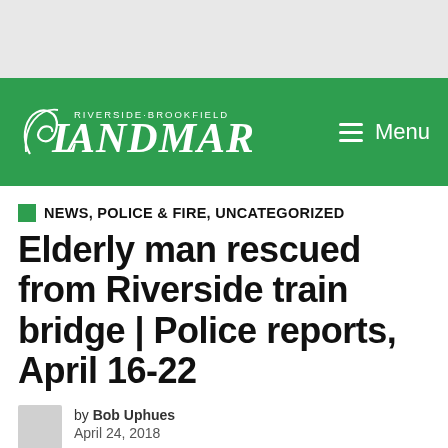[Figure (logo): Riverside-Brookfield Landmark newspaper logo in white on green background, with hamburger menu icon and Menu text on the right]
NEWS, POLICE & FIRE, UNCATEGORIZED
Elderly man rescued from Riverside train bridge | Police reports, April 16-22
by Bob Uphues
April 24, 2018